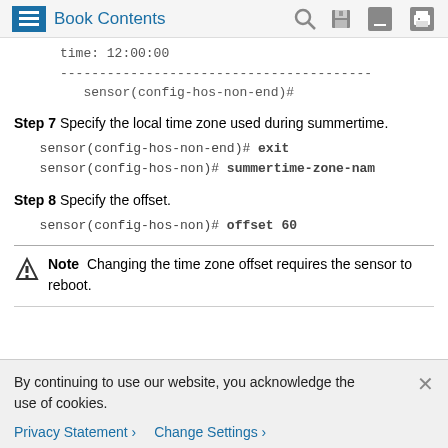Book Contents
time: 12:00:00
----------------------------------------
sensor(config-hos-non-end)#
Step 7 Specify the local time zone used during summertime.
sensor(config-hos-non-end)# exit
sensor(config-hos-non)# summertime-zone-nam
Step 8 Specify the offset.
sensor(config-hos-non)# offset 60
Note  Changing the time zone offset requires the sensor to reboot.
By continuing to use our website, you acknowledge the use of cookies.
Privacy Statement > Change Settings >